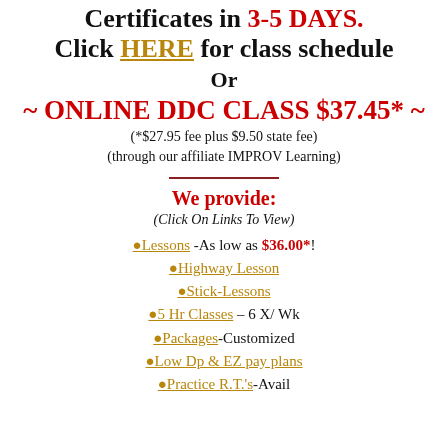Certificates in 5 Days. Click HERE for class schedule Or
~ ONLINE DDC CLASS $37.45* ~
(*$27.95 fee plus $9.50 state fee) (through our affiliate IMPROV Learning)
We provide:
(Click On Links To View)
•Lessons -As low as $36.00*!
•Highway Lesson
•Stick-Lessons
•5 Hr Classes – 6 X/ Wk
•Packages-Customized
•Low Dp & EZ pay plans
•Practice R.T.'s-Avail